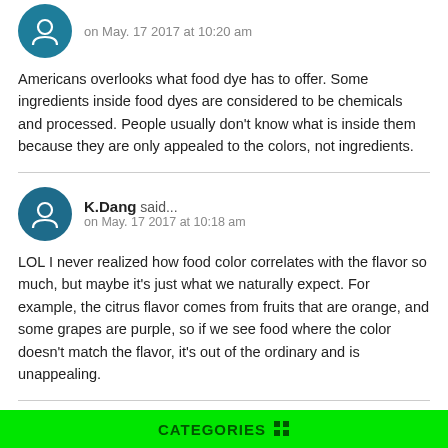on May. 17 2017 at 10:20 am
Americans overlooks what food dye has to offer. Some ingredients inside food dyes are considered to be chemicals and processed. People usually don't know what is inside them because they are only appealed to the colors, not ingredients.
K.Dang said... on May. 17 2017 at 10:18 am
LOL I never realized how food color correlates with the flavor so much, but maybe it's just what we naturally expect. For example, the citrus flavor comes from fruits that are orange, and some grapes are purple, so if we see food where the color doesn't match the flavor, it's out of the ordinary and is unappealing.
LanTo BRONZE said... on May. 17 2017 at 10:15 am
CATEGORIES